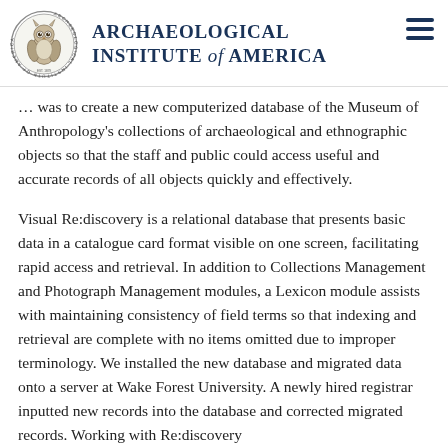Archaeological Institute of America
... was to create a new computerized database of the Museum of Anthropology's collections of archaeological and ethnographic objects so that the staff and public could access useful and accurate records of all objects quickly and effectively.
Visual Re:discovery is a relational database that presents basic data in a catalogue card format visible on one screen, facilitating rapid access and retrieval. In addition to Collections Management and Photograph Management modules, a Lexicon module assists with maintaining consistency of field terms so that indexing and retrieval are complete with no items omitted due to improper terminology. We installed the new database and migrated data onto a server at Wake Forest University. A newly hired registrar inputted new records into the database and corrected migrated records. Working with Re:discovery